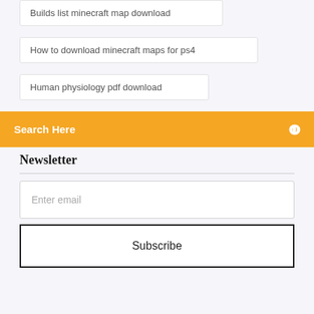Builds list minecraft map download
How to download minecraft maps for ps4
Human physiology pdf download
Search Here
Newsletter
Enter email
Subscribe